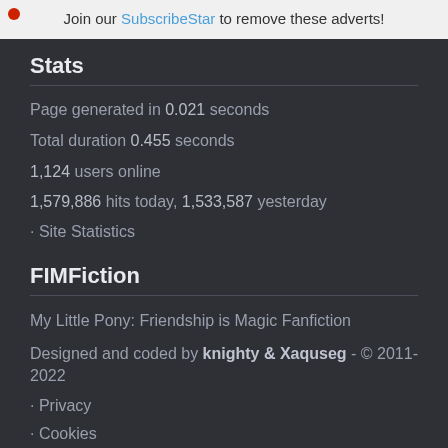Join our SubscribeStar to remove these adverts!
Stats
Page generated in 0.021 seconds
Total duration 0.455 seconds
1,124 users online
1,579,886 hits today, 1,533,587 yesterday
• Site Statistics
FIMFiction
My Little Pony: Friendship is Magic Fanfiction
Designed and coded by knighty & Xaquseg - © 2011-2022
• Privacy
• Cookies
• Staff